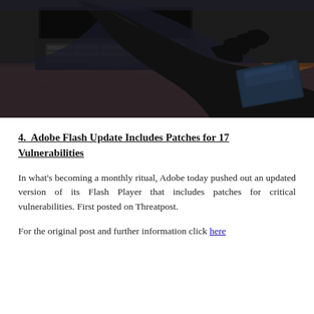[Figure (photo): A gloved hand reaching out of a laptop screen toward a wallet on a wooden desk, depicting cybercrime or hacking.]
4. Adobe Flash Update Includes Patches for 17 Vulnerabilities
In what’s becoming a monthly ritual, Adobe today pushed out an updated version of its Flash Player that includes patches for critical vulnerabilities. First posted on Threatpost.
For the original post and further information click here